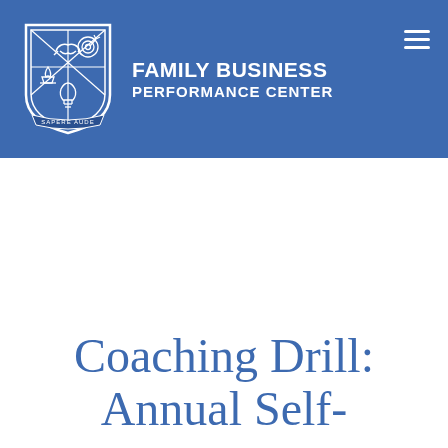[Figure (logo): Family Business Performance Center shield crest logo with blue background, featuring a handshake, target with arrow, campfire, and lightbulb motifs, with 'SAPERE AUDE' banner at bottom]
FAMILY BUSINESS PERFORMANCE CENTER
Coaching Drill: Annual Self-